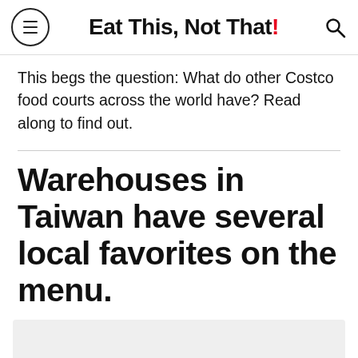Eat This, Not That!
This begs the question: What do other Costco food courts across the world have? Read along to find out.
Warehouses in Taiwan have several local favorites on the menu.
[Figure (infographic): Advertisement banner: People and allrecipes magazines promotion. Text reads: GRAB TOP TITLES FOR FREE! (UP TO $100) JUST PAY SHIPPING & HANDLING. Shop Now →]